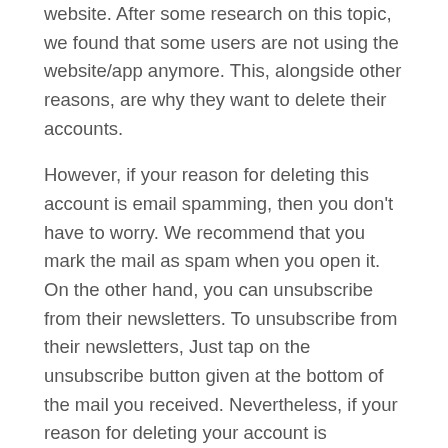website. After some research on this topic, we found that some users are not using the website/app anymore. This, alongside other reasons, are why they want to delete their accounts.
However, if your reason for deleting this account is email spamming, then you don't have to worry. We recommend that you mark the mail as spam when you open it. On the other hand, you can unsubscribe from their newsletters. To unsubscribe from their newsletters, Just tap on the unsubscribe button given at the bottom of the mail you received. Nevertheless, if your reason for deleting your account is otherwise, here is a step-by-step method on how to close your account from the website.
How To Delete Upaisa Account